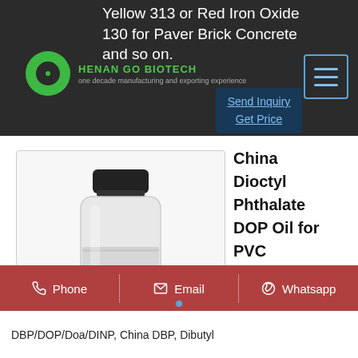Yellow 313 or Red Iron Oxide 130 for Paver Brick Concrete and so on.
[Figure (logo): Henan Go Biotech green circular logo with company name and tagline 'one decade manufacturing and exporting experience']
[Figure (photo): Glass vial with black cap containing white/clear liquid chemical product]
China Dioctyl Phthalate DOP Oil for PVC Processing
Processing
Phone
Email
Whatsapp
DBP/DOP/Doa/DINP, China DBP, Dibutyl